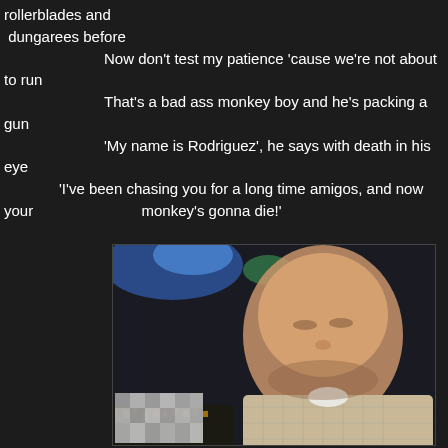rollerblades and dungarees before
            Now don't test my patience 'cause we're not about to run
            That's a bad ass monkey boy and he's packing a gun
            'My name is Rodriguez', he says with death in his eye
        'I've been chasing you for a long time amigos, and now your                              monkey's gonna die!'
[Figure (photo): Photo of an older man with closed eyes in a dimly lit setting, lower left corner blurred/pixelated]